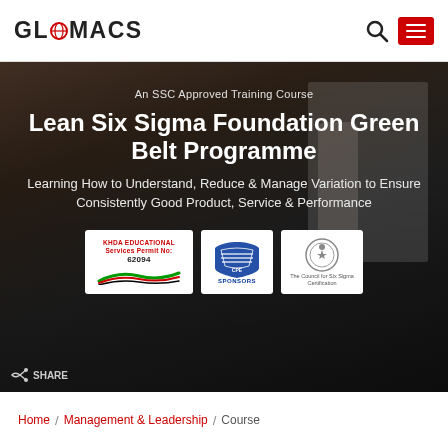GLOMACS
[Figure (photo): Dark background classroom/training room scene with a presenter at a whiteboard]
An SSC Approved Training Course
Lean Six Sigma Foundation Green Belt Programme
Learning How to Understand, Reduce & Manage Variation to Ensure Consistently Good Product, Service & Performance
[Figure (logo): KHDA Educational Services Permit No: 62094 logo]
[Figure (logo): CPE Sponsors logo]
[Figure (logo): The Council for Six Sigma Certification logo]
SHARE
Home / Management & Leadership / Course